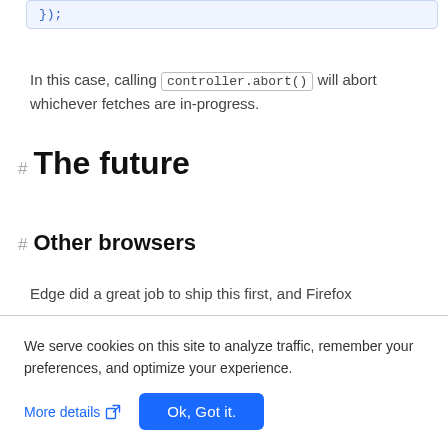});
In this case, calling controller.abort() will abort whichever fetches are in-progress.
The future
Other browsers
Edge did a great job to ship this first, and Firefox
We serve cookies on this site to analyze traffic, remember your preferences, and optimize your experience.
More details  Ok, Got it.